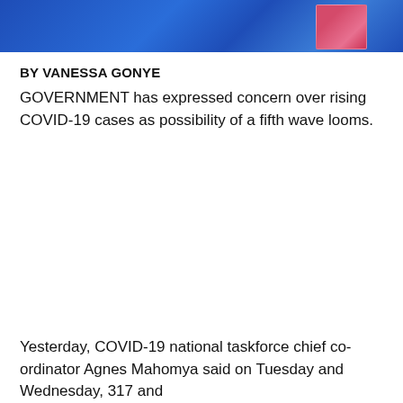[Figure (photo): Partial banner image with blue background and pink/red graphic element on the right side, cropped at top of page]
BY VANESSA GONYE
GOVERNMENT has expressed concern over rising COVID-19 cases as possibility of a fifth wave looms.
Yesterday, COVID-19 national taskforce chief co-ordinator Agnes Mahomya said on Tuesday and Wednesday, 317 and